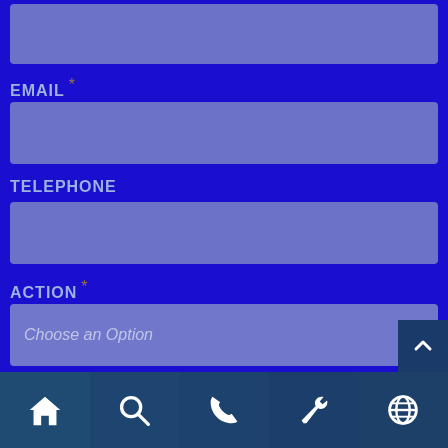EMAIL *
TELEPHONE
ACTION *
Choose an Option
COMM
[Figure (screenshot): Bottom navigation bar with home, search, phone, wrench/settings, and globe icons on dark blue background]